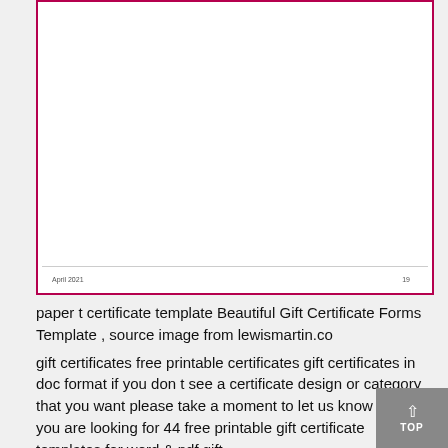[Figure (illustration): A document page preview with a pink/crimson border showing an empty white certificate template with a footer line reading 'April 2021' and page number '19'.]
paper t certificate template Beautiful Gift Certificate Forms Template , source image from lewismartin.co
gift certificates free printable certificates gift certificates in doc format if you don t see a certificate design or category that you want please take a moment to let us know what you are looking for 44 free printable gift certificate templates for word & pdf gift